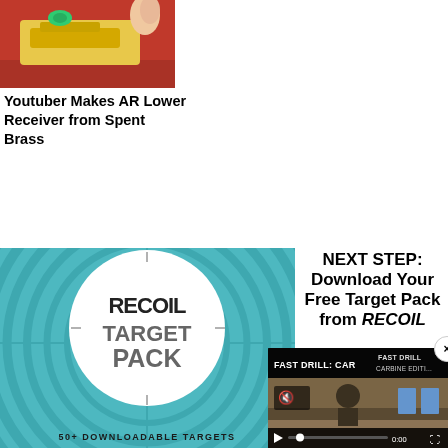[Figure (photo): Yellow/gold AR lower receiver being held, with red background]
Youtuber Makes AR Lower Receiver from Spent Brass
[Figure (illustration): RECOIL Target Pack promotional image - teal background with concentric circles, white circle in center with RECOIL TARGET PACK text, 50+ DOWNLOADABLE TARGETS at bottom]
NEXT STEP: Download Your Free Target Pack from RECOIL
[Figure (screenshot): Video player overlay showing FAST DRILL: CAR EDITION with play controls, muted audio, 0:00 timestamp, and shooting range targets visible]